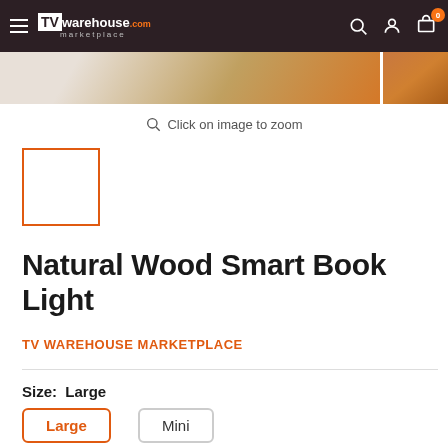TV Warehouse Marketplace – navigation bar
[Figure (photo): Partial product image strip showing a warm-toned book light, with one thumbnail on the right side]
Click on image to zoom
[Figure (photo): Selected thumbnail with orange border outline]
Natural Wood Smart Book Light
TV WAREHOUSE MARKETPLACE
Size:  Large
Large
Mini